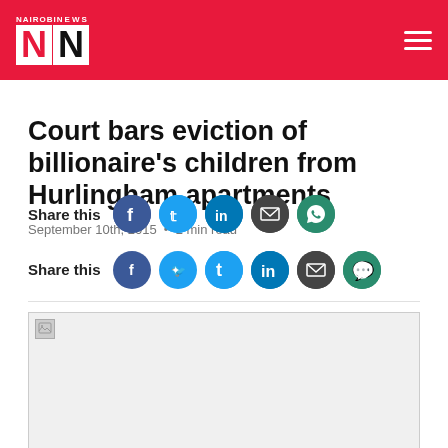NAIROBI NEWS NN
Court bars eviction of billionaire’s children from Hurlingham apartments
September 10th, 2015 • 2 min read
Share this
[Figure (photo): Article image placeholder (failed to load)]